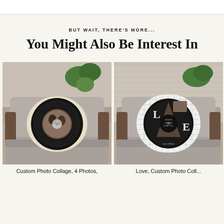BUT WAIT, THERE'S MORE...
You Might Also Be Interest In
[Figure (photo): Custom photo collage vinyl record pillow on a grey sofa chair with a green plant in the background. The pillow is cream/beige with a black vinyl record design containing a couple photo.]
[Figure (photo): Love custom photo collage vinyl record pillow on a grey sofa chair with a green plant in the background. The pillow is white with a grid pattern and a black vinyl record design containing the word LOVE and couple photos.]
Custom Photo Collage, 4 Photos,
Love, Custom Photo Coll...